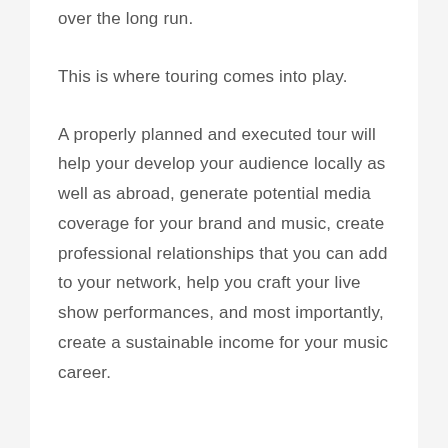over the long run.
This is where touring comes into play.
A properly planned and executed tour will help your develop your audience locally as well as abroad, generate potential media coverage for your brand and music, create professional relationships that you can add to your network, help you craft your live show performances, and most importantly, create a sustainable income for your music career.